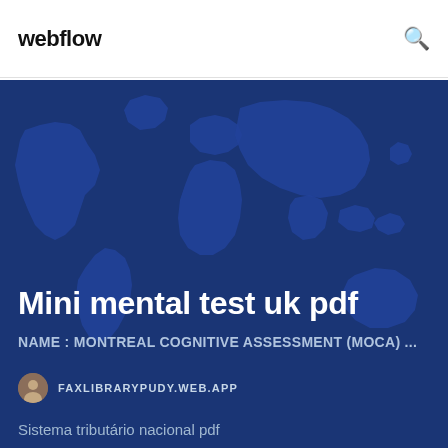webflow
[Figure (illustration): Dark blue world map background with continents silhouetted in slightly lighter blue, used as hero background image]
Mini mental test uk pdf
NAME : MONTREAL COGNITIVE ASSESSMENT (MOCA) ...
FAXLIBRARYPUDY.WEB.APP
Sistema tributário nacional pdf